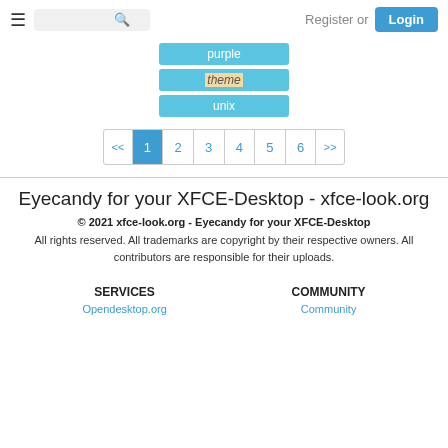Register or Login
purple
theme
unix
<< 1 2 3 4 5 6 >>
Eyecandy for your XFCE-Desktop - xfce-look.org
© 2021 xfce-look.org - Eyecandy for your XFCE-Desktop
All rights reserved. All trademarks are copyright by their respective owners. All contributors are responsible for their uploads.
SERVICES
COMMUNITY
Opendesktop.org
Community